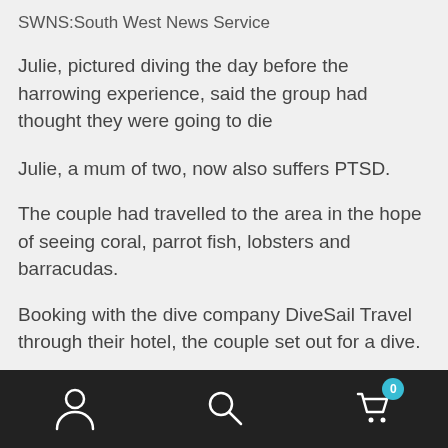SWNS:South West News Service
Julie, pictured diving the day before the harrowing experience, said the group had thought they were going to die
Julie, a mum of two, now also suffers PTSD.
The couple had travelled to the area in the hope of seeing coral, parrot fish, lobsters and barracudas.
Booking with the dive company DiveSail Travel through their hotel, the couple set out for a dive.
But they had no idea that earlier that morning, a boat
[Figure (other): Bottom navigation bar with person icon, search icon, and shopping cart icon with badge showing 0]